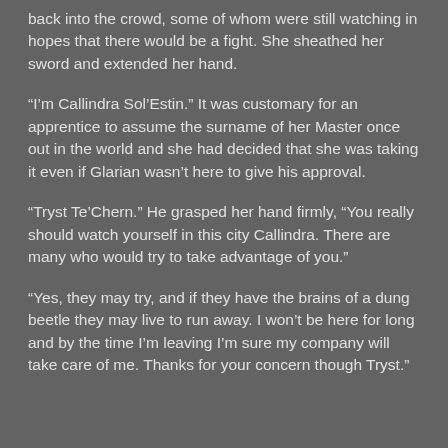back into the crowd, some of whom were still watching in hopes that there would be a fight.  She sheathed her sword and extended her hand.
“I’m Callindra Sol’Estin.”  It was customary for an apprentice to assume the surname of her Master once out in the world and she had decided that she was taking it even if Glarian wasn’t here to give his approval.
“Tryst Te’Chern.”  He grasped her hand firmly, “You really should watch yourself in this city Callindra.  There are many who would try to take advantage of you.”
“Yes, they may try, and if they have the brains of a dung beetle they may live to run away.  I won’t be here for long and by the time I’m leaving I’m sure my company will take care of me.  Thanks for your concern though Tryst.”